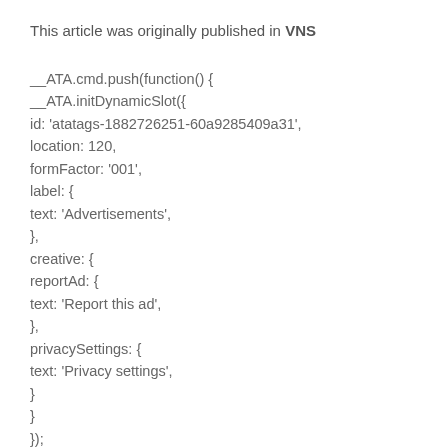This article was originally published in VNS
__ATA.cmd.push(function() {
__ATA.initDynamicSlot({
id: 'atatags-1882726251-60a9285409a31',
location: 120,
formFactor: '001',
label: {
text: 'Advertisements',
},
creative: {
reportAd: {
text: 'Report this ad',
},
privacySettings: {
text: 'Privacy settings',
}
}
});